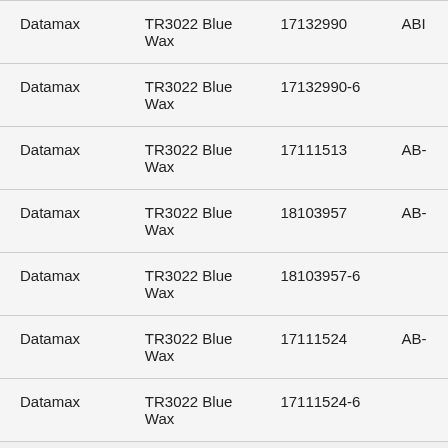| Datamax | TR3022 Blue Wax | 17132990 | ABI |
| Datamax | TR3022 Blue Wax | 17132990-6 |  |
| Datamax | TR3022 Blue Wax | 17111513 | AB- |
| Datamax | TR3022 Blue Wax | 18103957 | AB- |
| Datamax | TR3022 Blue Wax | 18103957-6 |  |
| Datamax | TR3022 Blue Wax | 17111524 | AB- |
| Datamax | TR3022 Blue Wax | 17111524-6 |  |